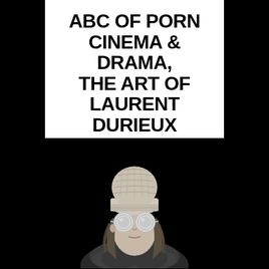ABC OF PORN CINEMA & DRAMA, THE ART OF LAURENT DURIEUX
MIMA
EXPO
[Figure (photo): Black and white photograph of a person wearing a knitted beanie hat and large round goggles/glasses, with long wavy hair and a scarf, photographed against a black background]